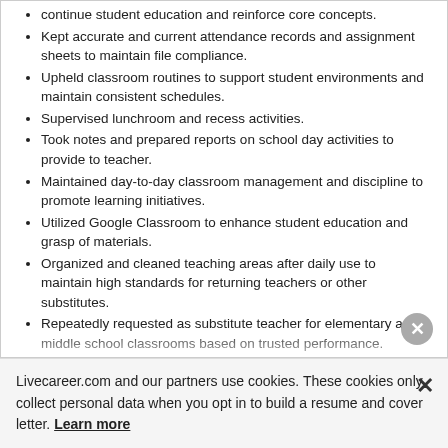continue student education and reinforce core concepts.
Kept accurate and current attendance records and assignment sheets to maintain file compliance.
Upheld classroom routines to support student environments and maintain consistent schedules.
Supervised lunchroom and recess activities.
Took notes and prepared reports on school day activities to provide to teacher.
Maintained day-to-day classroom management and discipline to promote learning initiatives.
Utilized Google Classroom to enhance student education and grasp of materials.
Organized and cleaned teaching areas after daily use to maintain high standards for returning teachers or other substitutes.
Repeatedly requested as substitute teacher for elementary and middle school classrooms based on trusted performance.
Completed documentation of attendance, grades and other required details.
Worked with principal's office on disciplinary and
Livecareer.com and our partners use cookies. These cookies only collect personal data when you opt in to build a resume and cover letter. Learn more